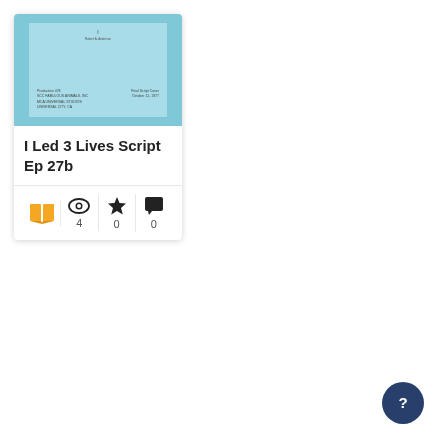[Figure (screenshot): Thumbnail image of a document with light blue cover, showing faint text lines]
I Led 3 Lives Script Ep 27b
[Figure (infographic): Card footer with open book icon (orange), eye icon with count 4, star icon with count 0, comment icon with count 0]
[Figure (other): Dark navy circular help/question mark button in bottom right corner]